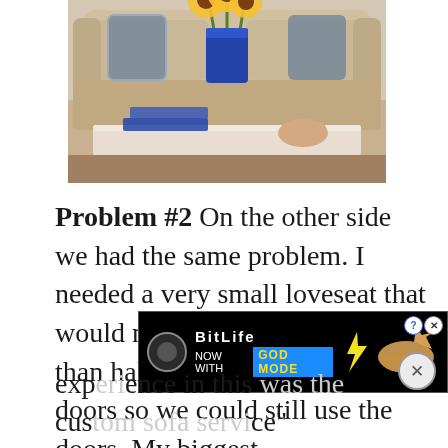[Figure (photo): A living room scene with a beige/cream sofa with blue pillows, yellow sunflowers in a blue vase on a coffee table with books, and a person's hands resting on the table.]
Problem #2 On the other side we had the same problem.  I needed a very small loveseat that would not encroach any more than halfway into the French doors so we could still use the doors. My biggest
[Figure (screenshot): Advertisement banner for BitLife game with 'NOW WITH GOD MODE' text, showing a pointing hand graphic on black background.]
exp...  ...th